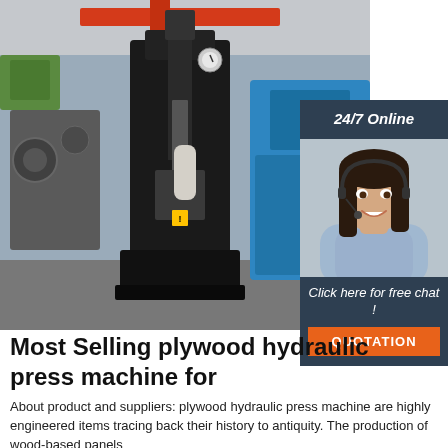[Figure (photo): Industrial hydraulic press machine in a factory/warehouse setting. Large black press machine in foreground with blue machinery in background, red overhead crane visible at top.]
[Figure (photo): Customer service agent — young woman with dark hair wearing a headset, smiling, in front of a dark blue background.]
24/7 Online
Click here for free chat !
QUOTATION
Most Selling plywood hydraulic press machine for
[Figure (logo): Orange triangle/arrow 'TOP' logo with dots above the T, O, P letters]
About product and suppliers: plywood hydraulic press machine are highly engineered items tracing back their history to antiquity. The production of wood-based panels